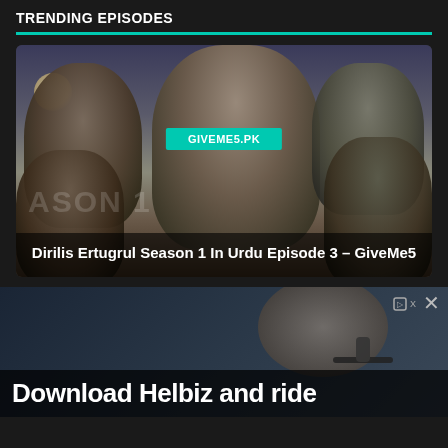TRENDING EPISODES
[Figure (screenshot): Promotional image for Dirilis Ertugrul Season 1 showing five medieval Turkish warriors with the text GIVEME5.PK overlaid in a teal badge, and caption text at the bottom reading 'Dirilis Ertugrul Season 1 In Urdu Episode 3 – GiveMe5']
[Figure (screenshot): Advertisement banner for Helbiz with an 'X' close button and sponsored marker, showing a partial background image and white bold text 'Download Helbiz and ride']
Download Helbiz and ride